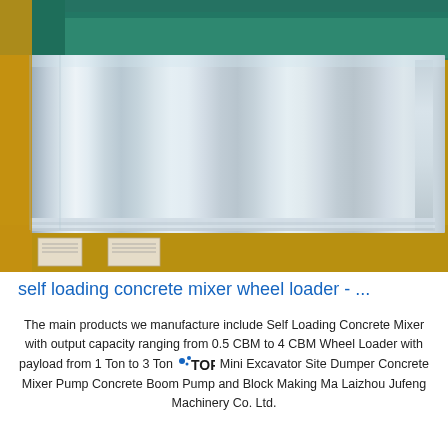[Figure (photo): A stack of shiny aluminum or stainless steel metal sheets wrapped in brown cardboard/paper packaging with some plastic wrap, viewed from above at a slight angle. The sheets appear silvery and reflective with slight vertical striations.]
self loading concrete mixer wheel loader - ...
The main products we manufacture include Self Loading Concrete Mixer with output capacity ranging from 0.5 CBM to 4 CBM Wheel Loader with payload from 1 Ton to 3 Ton Mini Excavator Site Dumper Concrete Mixer Pump Concrete Boom Pump and Block Making Ma Laizhou Jufeng Machinery Co. Ltd.